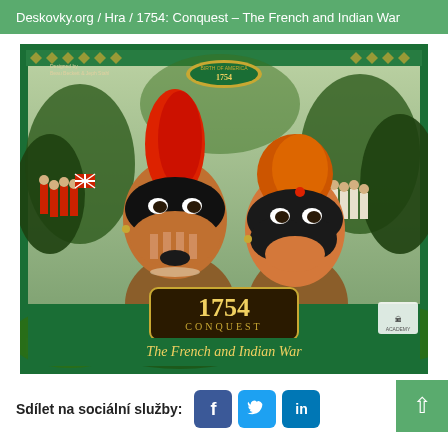Deskovky.org / Hra / 1754: Conquest – The French and Indian War
[Figure (illustration): Board game box art for '1754: Conquest – The French and Indian War'. Shows two Native American warriors with face paint in foreground, British redcoat soldiers on the left background, white-clad soldiers on the right. Green decorative border with diamond pattern. Gold '1754 CONQUEST' logo and subtitle 'The French and Indian War' at bottom. Academy Games logo bottom right.]
Sdílet na sociální služby: